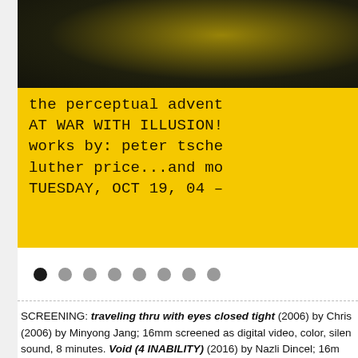[Figure (photo): A cropped poster with yellow background and dark halftone image at top. Text in typewriter font reads: 'the perceptual advent... AT WAR WITH ILLUSION! works by: peter tsche... luther price...and mo... TUESDAY, OCT 19, 04 –']
Carousel navigation dots: 8 dots, first one active (filled black), remaining 7 grey
SCREENING: traveling thru with eyes closed tight (2006) by Chris... (2006) by Minyong Jang; 16mm screened as digital video, color, silen... sound, 8 minutes. Void (4 INABILITY) (2016) by Nazli Dincel; 16m...